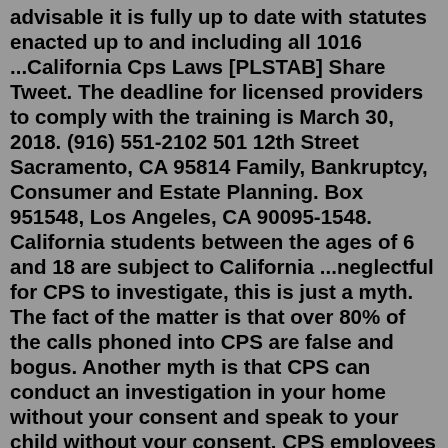advisable it is fully up to date with statutes enacted up to and including all 1016 ...California Cps Laws [PLSTAB] Share Tweet. The deadline for licensed providers to comply with the training is March 30, 2018. (916) 551-2102 501 12th Street Sacramento, CA 95814 Family, Bankruptcy, Consumer and Estate Planning. Box 951548, Los Angeles, CA 90095-1548. California students between the ages of 6 and 18 are subject to California ...neglectful for CPS to investigate, this is just a myth. The fact of the matter is that over 80% of the calls phoned into CPS are false and bogus. Another myth is that CPS can conduct an investigation in your home without your consent and speak to your child without your consent. CPS employees will lie to you and tell you they do not need your ...Search: Missed A Drug Test For Cps. It could catch far more cases than fever checks, which have largely flopped as screening tools for COVID-19 Arrange to have the cab (or whoever) take the employee straight to the drug testing center, and be sure the employee also has a ride home for afterward